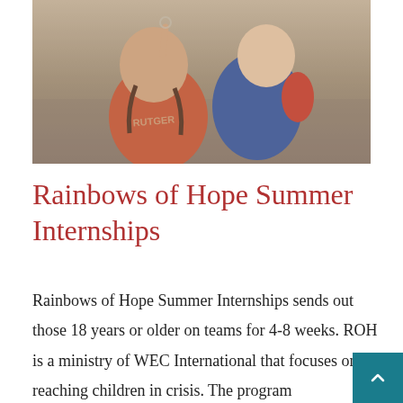[Figure (photo): Two children outdoors, one wearing a Rutgers shirt with braided hair, leaning together]
Rainbows of Hope Summer Internships
Rainbows of Hope Summer Internships sends out those 18 years or older on teams for 4-8 weeks. ROH is a ministry of WEC International that focuses on reaching children in crisis. The program